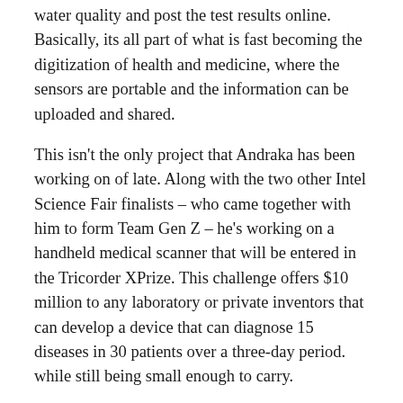water quality and post the test results online. Basically, its all part of what is fast becoming the digitization of health and medicine, where the sensors are portable and the information can be uploaded and shared.
This isn't the only project that Andraka has been working on of late. Along with the two other Intel Science Fair finalists – who came together with him to form Team Gen Z – he's working on a handheld medical scanner that will be entered in the Tricorder XPrize. This challenge offers $10 million to any laboratory or private inventors that can develop a device that can diagnose 15 diseases in 30 patients over a three-day period. while still being small enough to carry.
For more information on this project and Team